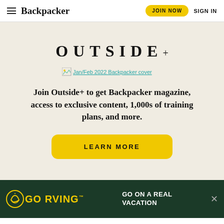Backpacker | JOIN NOW | SIGN IN
OUTSIDE+
[Figure (illustration): Broken image placeholder for Jan/Feb 2022 Backpacker cover]
Join Outside+ to get Backpacker magazine, access to exclusive content, 1,000s of training plans, and more.
LEARN MORE
[Figure (advertisement): Go RVing advertisement banner: GO RVING logo with RV helmet icon, text reading GO ON A REAL VACATION on dark green background]